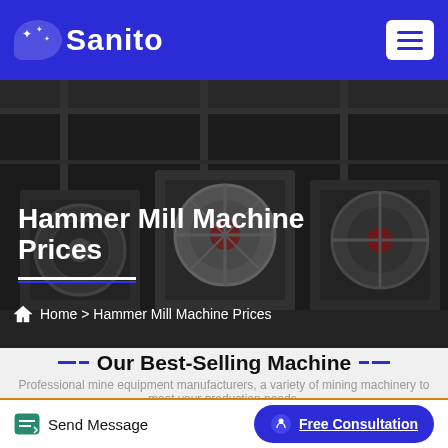Sanito
[Figure (photo): Industrial hammer mill machines in a factory setting, dark overlay background]
Hammer Mill Machine Prices
Home > Hammer Mill Machine Prices
Our Best-Selling Machine
Professional mine equipment manufacturers, a variety of mining machinery to meet your production needs.
Send Message | Free Consultation